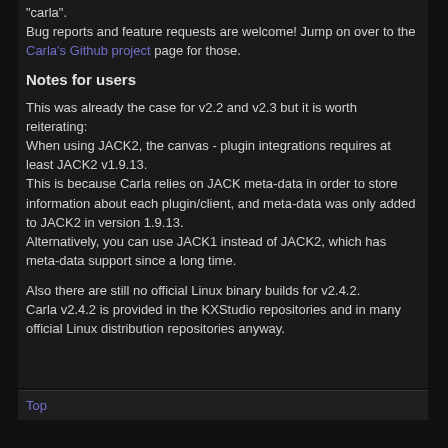"carla".
Bug reports and feature requests are welcome! Jump on over to the Carla's Github project page for those.
Notes for users
This was already the case for v2.2 and v2.3 but it is worth reiterating:
When using JACK2, the canvas - plugin integrations requires at least JACK2 v1.9.13.
This is because Carla relies on JACK meta-data in order to store information about each plugin/client, and meta-data was only added to JACK2 in version 1.9.13.
Alternatively, you can use JACK1 instead of JACK2, which has meta-data support since a long time.
Also there are still no official Linux binary builds for v2.4.2.
Carla v2.4.2 is provided in the KXStudio repositories and in many official Linux distribution repositories anyway.
Top